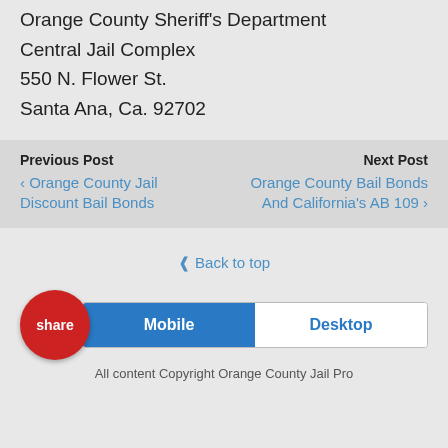Orange County Sheriff's Department
Central Jail Complex
550 N. Flower St.
Santa Ana, Ca. 92702
Previous Post
❮ Orange County Jail Discount Bail Bonds
Next Post
Orange County Bail Bonds And California's AB 109 ❯
⌃⌃ Back to top
Mobile | Desktop
All content Copyright Orange County Jail Pro